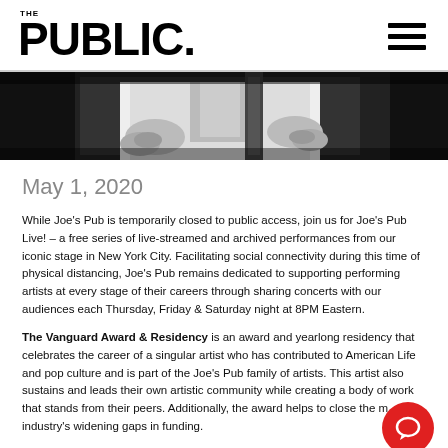THE PUBLIC.
[Figure (photo): Black and white photo showing a person's hands playing or holding a musical instrument on a stage, cropped to show torso and hands.]
May 1, 2020
While Joe's Pub is temporarily closed to public access, join us for Joe's Pub Live! – a free series of live-streamed and archived performances from our iconic stage in New York City. Facilitating social connectivity during this time of physical distancing, Joe's Pub remains dedicated to supporting performing artists at every stage of their careers through sharing concerts with our audiences each Thursday, Friday & Saturday night at 8PM Eastern.
The Vanguard Award & Residency is an award and yearlong residency that celebrates the career of a singular artist who has contributed to American Life and pop culture and is part of the Joe's Pub family of artists. This artist also sustains and leads their own artistic community while creating a body of work that stands from their peers. Additionally, the award helps to close the music industry's widening gaps in funding.